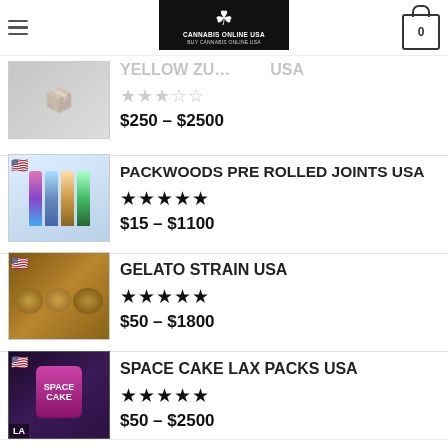CANNABIS ONLINE USA - BUY CANNABIS ONLINE USA
YELLOW ZU... USA
★★★☆☆
$250 – $2500
PACKWOODS PRE ROLLED JOINTS USA
★★★★★
$15 – $1100
GELATO STRAIN USA
★★★★★
$50 – $1800
SPACE CAKE LAX PACKS USA
★★★★★
$50 – $2500
UCT CATEGORIES